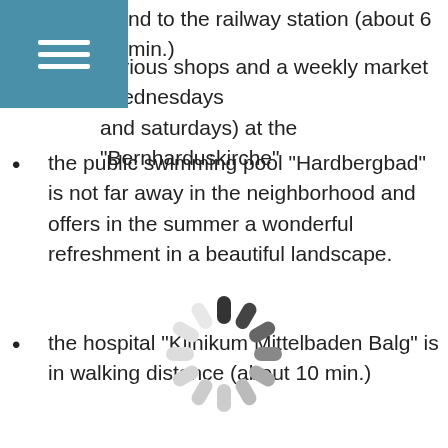nd to the railway station (about 6 min.)
various shops and a weekly market (wednesdays and saturdays) at the "Bernharduskirche"
the public swimming pool "Hardbergbad" is not far away in the neighborhood and offers in the summer a wonderful refreshment in a beautiful landscape.
the hospital "Klinikum Mittelbaden Balg" is in walking distance (about 10 min.)
[Figure (other): Loading spinner / circular progress indicator with dark segments at top fading to light gray around the circle]